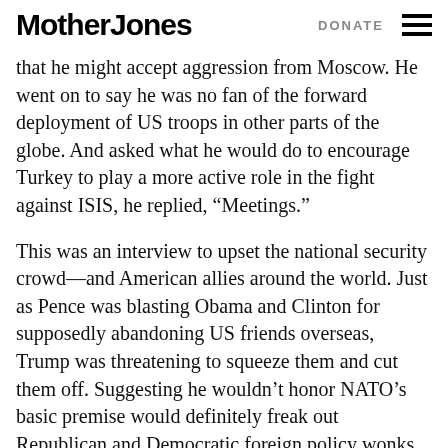Mother Jones | DONATE
that he might accept aggression from Moscow. He went on to say he was no fan of the forward deployment of US troops in other parts of the globe. And asked what he would do to encourage Turkey to play a more active role in the fight against ISIS, he replied, “Meetings.”
This was an interview to upset the national security crowd—and American allies around the world. Just as Pence was blasting Obama and Clinton for supposedly abandoning US friends overseas, Trump was threatening to squeeze them and cut them off. Suggesting he wouldn’t honor NATO’s basic premise would definitely freak out Republican and Democratic foreign policy wonks and the leaders of